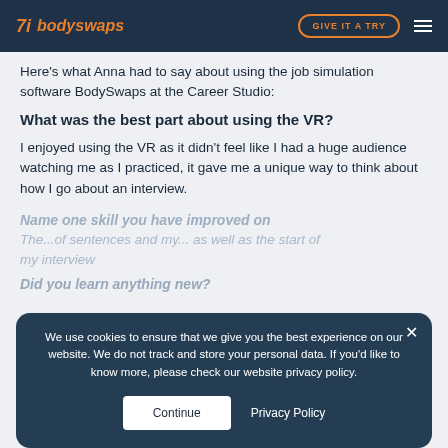bodyswaps — GIVE IT A TRY
Here's what Anna had to say about using the job simulation software BodySwaps at the Career Studio:
What was the best part about using the VR?
I enjoyed using the VR as it didn't feel like I had a huge audience watching me as I practiced, it gave me a unique way to think about how I go about an interview.
Name one skill you have improved on
The...of sentences and my... as well as the start of my interview
Did you learn anything new?
We use cookies to ensure that we give you the best experience on our website. We do not track and store your personal data. If you'd like to know more, please check our website privacy policy.